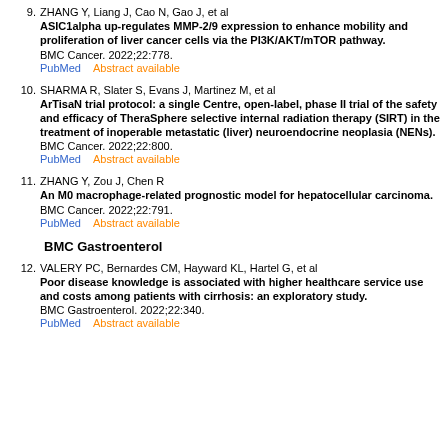9. ZHANG Y, Liang J, Cao N, Gao J, et al
ASIC1alpha up-regulates MMP-2/9 expression to enhance mobility and proliferation of liver cancer cells via the PI3K/AKT/mTOR pathway.
BMC Cancer. 2022;22:778.
PubMed    Abstract available
10. SHARMA R, Slater S, Evans J, Martinez M, et al
ArTisaN trial protocol: a single Centre, open-label, phase II trial of the safety and efficacy of TheraSphere selective internal radiation therapy (SIRT) in the treatment of inoperable metastatic (liver) neuroendocrine neoplasia (NENs).
BMC Cancer. 2022;22:800.
PubMed    Abstract available
11. ZHANG Y, Zou J, Chen R
An M0 macrophage-related prognostic model for hepatocellular carcinoma.
BMC Cancer. 2022;22:791.
PubMed    Abstract available
BMC Gastroenterol
12. VALERY PC, Bernardes CM, Hayward KL, Hartel G, et al
Poor disease knowledge is associated with higher healthcare service use and costs among patients with cirrhosis: an exploratory study.
BMC Gastroenterol. 2022;22:340.
PubMed    Abstract available